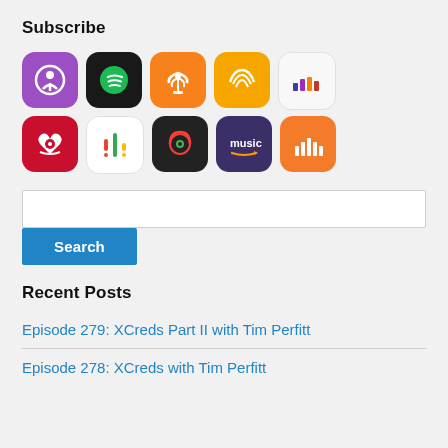Subscribe
[Figure (other): Grid of podcast/audio app icons: Apple Podcasts, Spotify, Overcast, Audible, Deezer (row 1); iHeartRadio, Google Podcasts, Pocket Casts, Amazon Music, Castbox (row 2)]
[Figure (other): Search input field with Search button below]
Recent Posts
Episode 279: XCreds Part II with Tim Perfitt
Episode 278: XCreds with Tim Perfitt